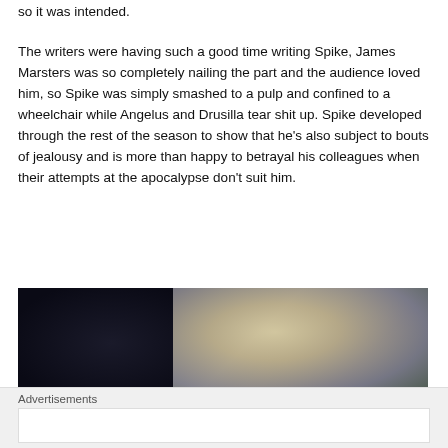so it was intended.
The writers were having such a good time writing Spike, James Marsters was so completely nailing the part and the audience loved him, so Spike was simply smashed to a pulp and confined to a wheelchair while Angelus and Drusilla tear shit up. Spike developed through the rest of the season to show that he's also subject to bouts of jealousy and is more than happy to betrayal his colleagues when their attempts at the apocalypse don't suit him.
[Figure (photo): Two people close together, one with dark hair on the left and one with short blonde/light hair on the right, in a dark scene.]
Advertisements